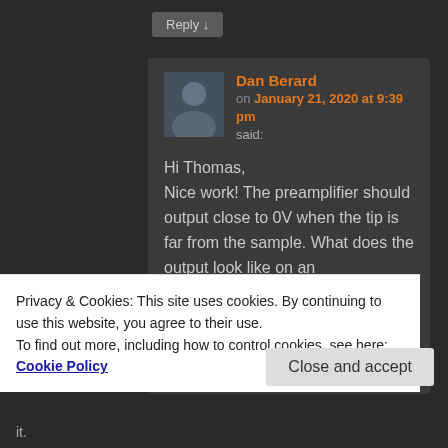Reply ↓
Dan Berard
on January 21, 2020 at 9:39 pm
said:
Hi Thomas,
Nice work! The preamplifier should output close to 0V when the tip is far from the sample. What does the output look like on an oscilloscope? Is it just stuck at -15V? Make sure the probe connection is very well insulated and there are no sources of
Privacy & Cookies: This site uses cookies. By continuing to use this website, you agree to their use.
To find out more, including how to control cookies, see here: Cookie Policy
Close and accept
it.